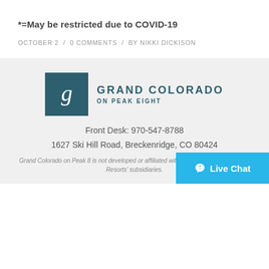*=May be restricted due to COVID-19
OCTOBER 2 / 0 COMMENTS / BY NIKKI DICKISON
[Figure (logo): Grand Colorado on Peak Eight logo — teal square with stylized letter g, text GRAND COLORADO ON PEAK EIGHT]
Front Desk: 970-547-8788
1627 Ski Hill Road, Breckenridge, CO 80424
Grand Colorado on Peak 8 is not developed or affiliated with Vail Resorts or any of Vail Resorts' subsidiaries.